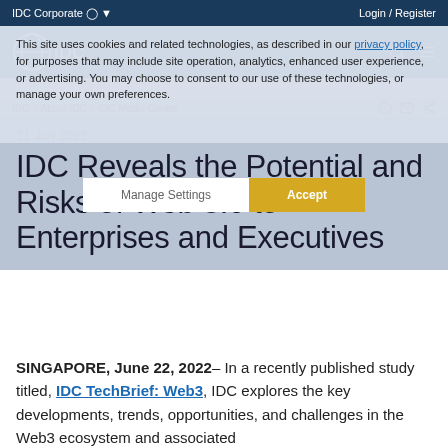IDC Corporate  Login / Register
This site uses cookies and related technologies, as described in our privacy policy, for purposes that may include site operation, analytics, enhanced user experience, or advertising. You may choose to consent to our use of these technologies, or manage your own preferences.
Manage Settings  Accept
IDC  IDC  About IDC  IDC Media Center
21 Jun 2022
IDC Reveals the Potential and Risks of Web 3.0 to Enterprises and Executives
SINGAPORE, June 22, 2022– In a recently published study titled, IDC TechBrief: Web3, IDC explores the key developments, trends, opportunities, and challenges in the Web3 ecosystem and associated